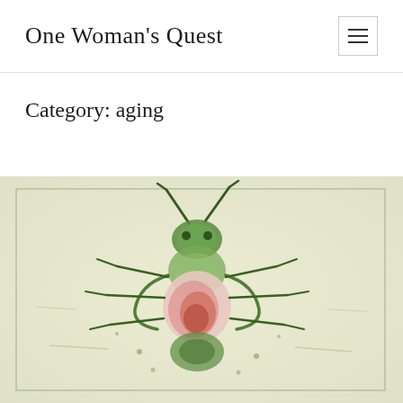One Woman's Quest
Category: aging
[Figure (illustration): Watercolor-style illustration of a beetle/bug with green markings, antennae, and legs on a pale yellow-green background with a faint rectangular border]